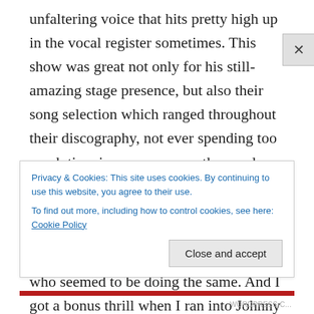unfaltering voice that hits pretty high up in the vocal register sometimes. This show was great not only for his still-amazing stage presence, but also their song selection which ranged throughout their discography, not ever spending too much time in one era or another, and executing each unique sound flawlessly. I enjoyed dancing the entire time and singing along to every word, and I saw more than a couple surrounding fans who seemed to be doing the same. And I got a bonus thrill when I ran into Johnny and his husband not once, but twice later in the weekend!
Privacy & Cookies: This site uses cookies. By continuing to use this website, you agree to their use.
To find out more, including how to control cookies, see here: Cookie Policy